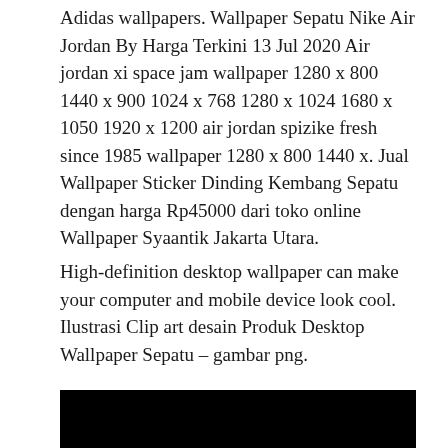Adidas wallpapers. Wallpaper Sepatu Nike Air Jordan By Harga Terkini 13 Jul 2020 Air jordan xi space jam wallpaper 1280 x 800 1440 x 900 1024 x 768 1280 x 1024 1680 x 1050 1920 x 1200 air jordan spizike fresh since 1985 wallpaper 1280 x 800 1440 x. Jual Wallpaper Sticker Dinding Kembang Sepatu dengan harga Rp45000 dari toko online Wallpaper Syaantik Jakarta Utara.
High-definition desktop wallpaper can make your computer and mobile device look cool. Ilustrasi Clip art desain Produk Desktop Wallpaper Sepatu – gambar png.
[Figure (photo): Black image/photo block at the bottom of the page]